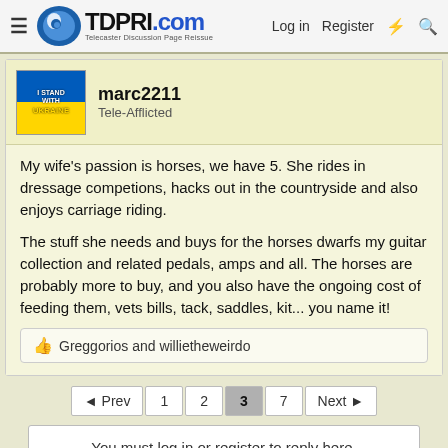TDPRI.com — Telecaster Discussion Page Reissue — Log in | Register
marc2211
Tele-Afflicted
My wife's passion is horses, we have 5. She rides in dressage competions, hacks out in the countryside and also enjoys carriage riding.
The stuff she needs and buys for the horses dwarfs my guitar collection and related pedals, amps and all. The horses are probably more to buy, and you also have the ongoing cost of feeding them, vets bills, tack, saddles, kit... you name it!
👍 Greggorios and willietheweirdo
◄ Prev  1  2  3  7  Next ►
You must log in or register to reply here.